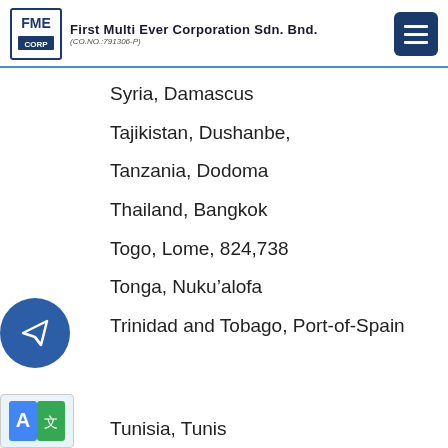First Multi Ever Corporation Sdn. Bnd. (CO.NO.:791306-P)
Syria, Damascus
Tajikistan, Dushanbe,
Tanzania, Dodoma
Thailand, Bangkok
Togo, Lome, 824,738
Tonga, Nuku’alofa
Trinidad and Tobago, Port-of-Spain
Tunisia, Tunis